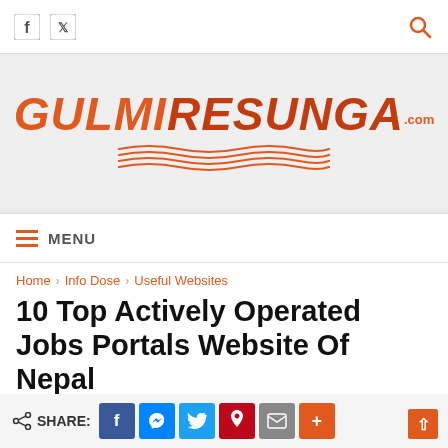[Figure (logo): GulmiResunga.com website logo with orange text and wavy underline decoration]
MENU
Home › Info Dose › Useful Websites
10 Top Actively Operated Jobs Portals Website Of Nepal
SHARE: [Facebook] [Messenger] [Twitter] [Pinterest] [Email] [More]